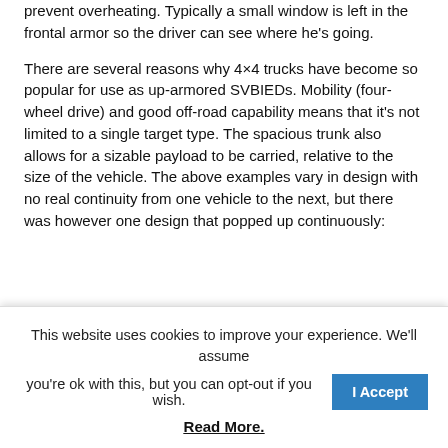prevent overheating. Typically a small window is left in the frontal armor so the driver can see where he's going.
There are several reasons why 4×4 trucks have become so popular for use as up-armored SVBIEDs. Mobility (four-wheel drive) and good off-road capability means that it's not limited to a single target type. The spacious trunk also allows for a sizable payload to be carried, relative to the size of the vehicle. The above examples vary in design with no real continuity from one vehicle to the next, but there was however one design that popped up continuously:
[Figure (photo): Partial outdoor photo showing utility poles against a grey sky and the roofline of a building at the right edge.]
This website uses cookies to improve your experience. We'll assume you're ok with this, but you can opt-out if you wish. [I Accept button] Read More.